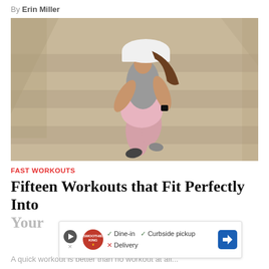By Erin Miller
[Figure (photo): Aerial view of a woman running/jogging up stairs or a patterned pavement, wearing a white cap, gray tank top, pink shorts and a smartwatch. She is looking down at her wrist.]
FAST WORKOUTS
Fifteen Workouts that Fit Perfectly Into Your
[Figure (other): Advertisement banner for Smoothie King restaurant showing dine-in checkmark, curbside pickup checkmark, delivery X mark, and a blue navigation arrow icon.]
A quick workout is better than no workout at all...